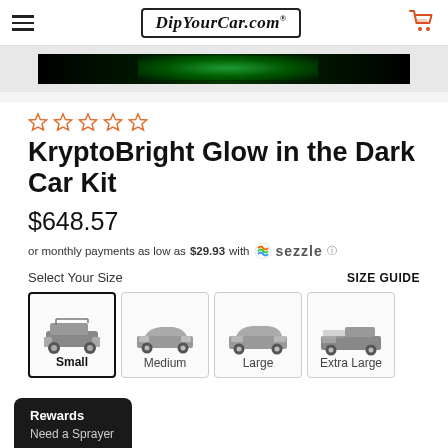DipYourCar.com
[Figure (photo): Banner image showing a dark background with green glow lighting effect]
[Figure (other): Five empty star rating icons in orange/red outline]
KryptoBright Glow in the Dark Car Kit
$648.57
or monthly payments as low as $29.93 with Sezzle
Select Your Size
SIZE GUIDE
[Figure (other): Size selection buttons showing four vehicle size options: Small (off-road vehicle, selected), Medium (sedan), Large (luxury sedan), Extra Large (pickup truck)]
Rewards
Need a Sprayer